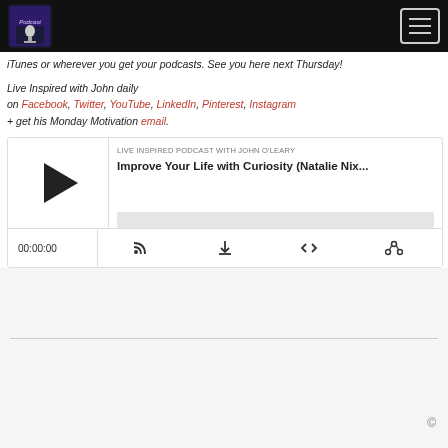Live Inspired Podcast with John O'Leary — navigation bar with logo and hamburger menu
iTunes or wherever you get your podcasts. See you here next Thursday!
Live Inspired with John daily on Facebook, Twitter, YouTube, LinkedIn, Pinterest, Instagram + get his Monday Motivation email.
[Figure (other): Embedded podcast audio player showing episode 'Improve Your Life with Curiosity (Natalie Nix...)' from Live Inspired Podcast with John O'Leary. Player shows play button, progress bar, timer 00:00:00, and control icons (RSS, download, embed, share).]
©